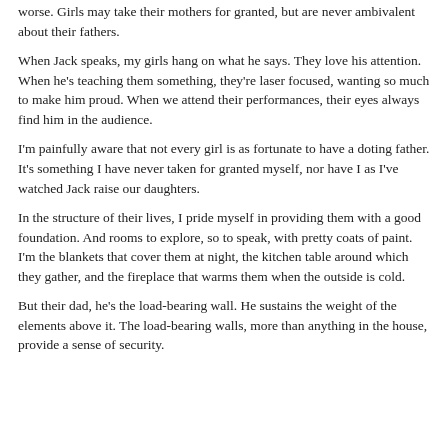worse. Girls may take their mothers for granted, but are never ambivalent about their fathers.
When Jack speaks, my girls hang on what he says. They love his attention. When he's teaching them something, they're laser focused, wanting so much to make him proud. When we attend their performances, their eyes always find him in the audience.
I'm painfully aware that not every girl is as fortunate to have a doting father. It's something I have never taken for granted myself, nor have I as I've watched Jack raise our daughters.
In the structure of their lives, I pride myself in providing them with a good foundation. And rooms to explore, so to speak, with pretty coats of paint. I'm the blankets that cover them at night, the kitchen table around which they gather, and the fireplace that warms them when the outside is cold.
But their dad, he's the load-bearing wall. He sustains the weight of the elements above it. The load-bearing walls, more than anything in the house, provide a sense of security.